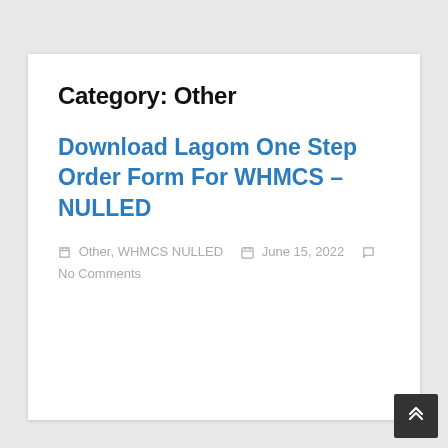Category: Other
Download Lagom One Step Order Form For WHMCS – NULLED
Other, WHMCS NULLED   June 15, 2022   No Comments